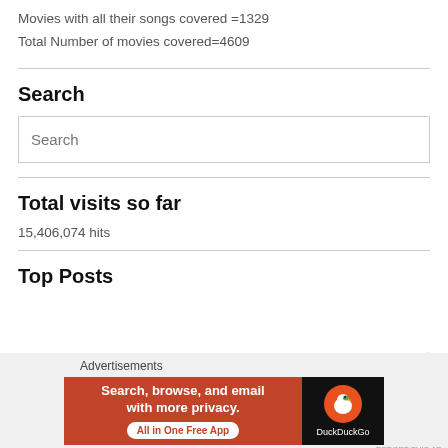Movies with all their songs covered =1329
Total Number of movies covered=4609
Search
Search (input box placeholder)
Total visits so far
15,406,074 hits
Top Posts
Advertisements
[Figure (other): DuckDuckGo advertisement banner: 'Search, browse, and email with more privacy. All in One Free App' with DuckDuckGo logo on dark background.]